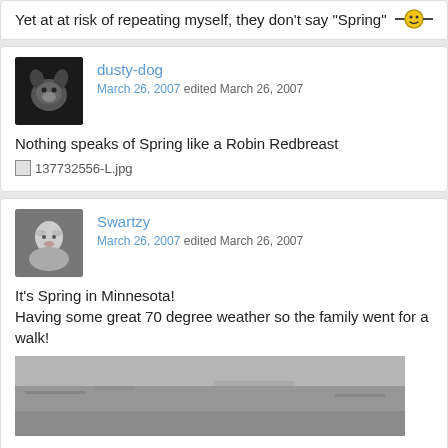Yet at at risk of repeating myself, they don't say "Spring"
dusty-dog
March 26, 2007 edited March 26, 2007
Nothing speaks of Spring like a Robin Redbreast
[image: 137732556-L.jpg]
Swartzy
March 26, 2007 edited March 26, 2007
It's Spring in Minnesota!
Having some great 70 degree weather so the family went for a walk!
[Figure (photo): Blurred outdoor photo, appears to be a park or street scene in muted grays and browns]